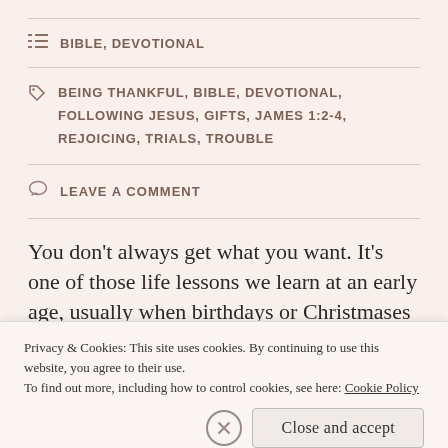BIBLE, DEVOTIONAL
BEING THANKFUL, BIBLE, DEVOTIONAL, FOLLOWING JESUS, GIFTS, JAMES 1:2-4, REJOICING, TRIALS, TROUBLE
LEAVE A COMMENT
You don't always get what you want. It's one of those life lessons we learn at an early age, usually when birthdays or Christmases come around. You
Privacy & Cookies: This site uses cookies. By continuing to use this website, you agree to their use.
To find out more, including how to control cookies, see here: Cookie Policy
Close and accept